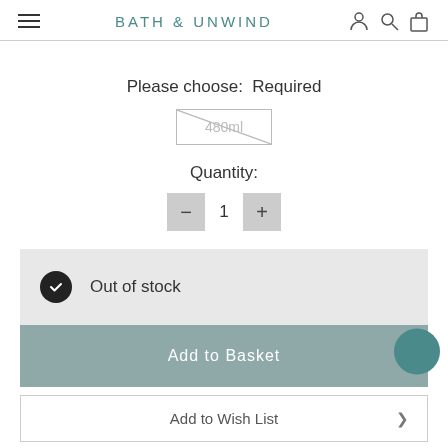BATH & UNWIND
Please choose:  Required
480ml (out of stock / crossed out)
Quantity:
1
Out of stock
Add to Basket
Add to Wish List